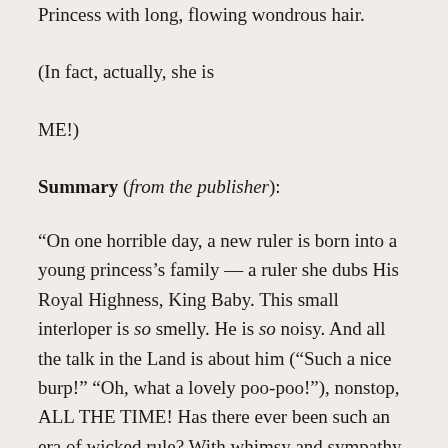Princess with long, flowing wondrous hair.
(In fact, actually, she is
ME!)
Summary (from the publisher):
“On one horrible day, a new ruler is born into a young princess’s family — a ruler she dubs His Royal Highness, King Baby. This small interloper is so smelly. He is so noisy. And all the talk in the Land is about him (“Such a nice burp!” “Oh, what a lovely poo-poo!”), nonstop, ALL THE TIME! Has there ever been such an era of wicked rule? With whimsy and sympathy, Sally Lloyd-Jones tells a